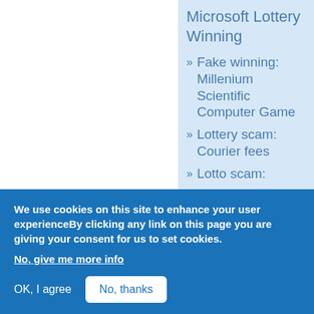Microsoft Lottery Winning
Fake winning: Millenium Scientific Computer Game
Lottery scam: Courier fees
Lotto scam:
We use cookies on this site to enhance your user experienceBy clicking any link on this page you are giving your consent for us to set cookies.
No, give me more info
OK, I agree
No, thanks